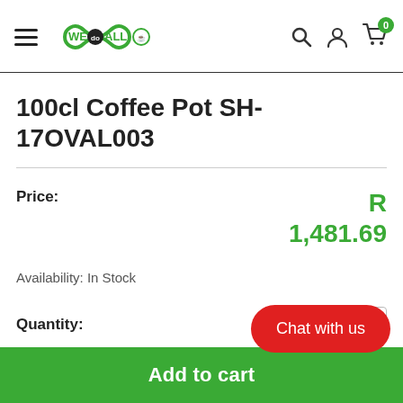[Figure (logo): WeDoAll infinity loop logo with navigation icons (hamburger menu, search, account, cart with badge 0)]
100cl Coffee Pot SH-17OVAL003
Price: R 1,481.69
Availability: In Stock
Quantity:
Chat with us
Add to cart